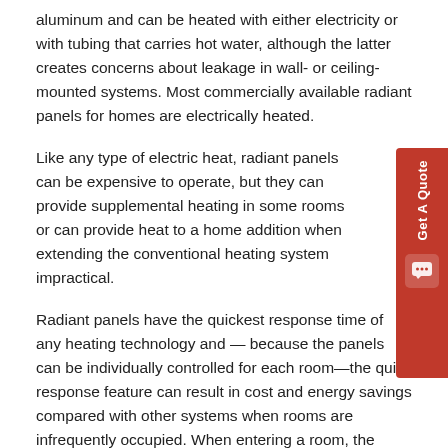aluminum and can be heated with either electricity or with tubing that carries hot water, although the latter creates concerns about leakage in wall- or ceiling-mounted systems. Most commercially available radiant panels for homes are electrically heated.
Like any type of electric heat, radiant panels can be expensive to operate, but they can provide supplemental heating in some rooms or can provide heat to a home addition when extending the conventional heating system impractical.
Radiant panels have the quickest response time of any heating technology and — because the panels can be individually controlled for each room—the quick response feature can result in cost and energy savings compared with other systems when rooms are infrequently occupied. When entering a room, the occupant can increase the temperature setting and be comfortable within minutes. As with any heating system, set the thermostat to a minimum